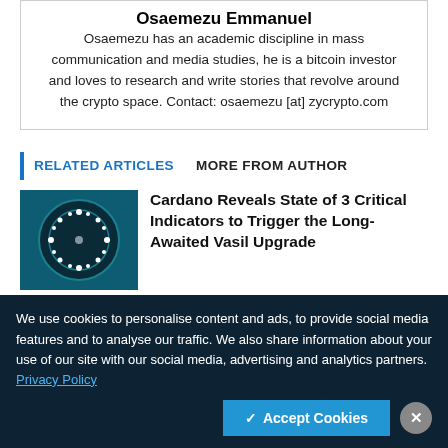Osaemezu Emmanuel
Osaemezu has an academic discipline in mass communication and media studies, he is a bitcoin investor and loves to research and write stories that revolve around the crypto space. Contact: osaemezu [at] zycrypto.com
RELATED ARTICLES   MORE FROM AUTHOR
[Figure (photo): Cardano logo — circular dark icon with dots arranged in a pattern on a teal/dark background]
Cardano Reveals State of 3 Critical Indicators to Trigger the Long-Awaited Vasil Upgrade
We use cookies to personalise content and ads, to provide social media features and to analyse our traffic. We also share information about your use of our site with our social media, advertising and analytics partners. Privacy Policy
✓ Accept Cookies